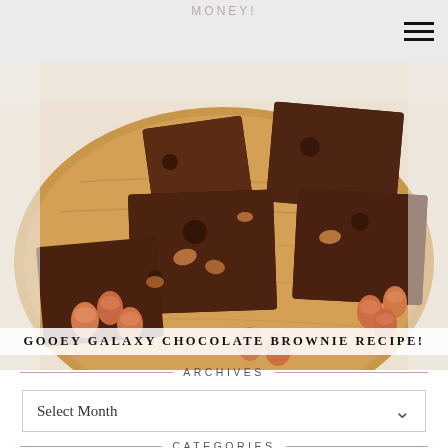MONEY!!
[Figure (photo): Gooey chocolate brownies cut into squares on a round wooden board, surrounded by orange chocolate candy eggs, photographed from above.]
GOOEY GALAXY CHOCOLATE BROWNIE RECIPE!
ARCHIVES
Select Month
CATEGORIES